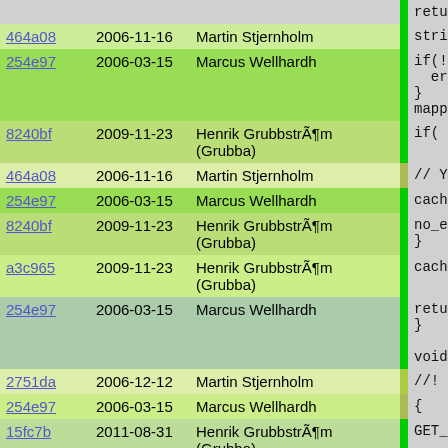| hash | date | author |  | code |
| --- | --- | --- | --- | --- |
|  |  |  |  | retu |
| 464a08 | 2006-11-16 | Martin Stjernholm |  | string |
| 254e97 | 2006-03-15 | Marcus Wellhardh |  | if(!en
  erro
}
mappin |
| 8240bf | 2009-11-23 | Henrik GrubbstrÃ¶m (Grubba) |  | if( si |
| 464a08 | 2006-11-16 | Martin Stjernholm |  | // Y |
| 254e97 | 2006-03-15 | Marcus Wellhardh |  | cach |
| 8240bf | 2009-11-23 | Henrik GrubbstrÃ¶m (Grubba) |  | no_e
} |
| a3c965 | 2009-11-23 | Henrik GrubbstrÃ¶m (Grubba) |  | cache[ |
| 254e97 | 2006-03-15 | Marcus Wellhardh |  | return
}

void del |
| 2751da | 2006-12-12 | Martin Stjernholm |  | //! Remo |
| 254e97 | 2006-03-15 | Marcus Wellhardh |  | { |
| 15fc7b | 2011-08-31 | Henrik GrubbstrÃ¶m (Grubba) |  | GET_DB |
| 254e97 | 2006-03-15 | Marcus Wellhardh |  | (plugi
m_dele |